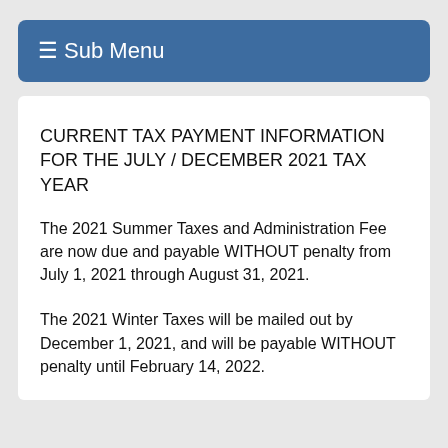≡ Sub Menu
CURRENT TAX PAYMENT INFORMATION FOR THE JULY / DECEMBER 2021 TAX YEAR
The 2021 Summer Taxes and Administration Fee are now due and payable WITHOUT penalty from July 1, 2021 through August 31, 2021.
The 2021 Winter Taxes will be mailed out by December 1, 2021, and will be payable WITHOUT penalty until February 14, 2022.